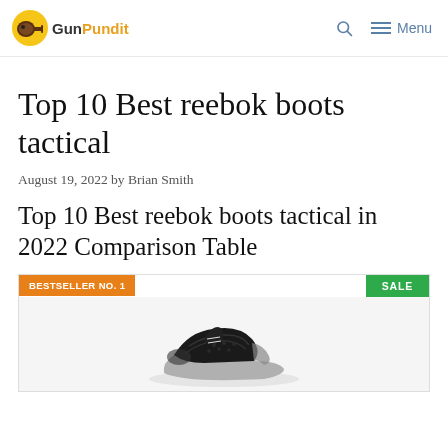GunPundit — Menu
Top 10 Best reebok boots tactical
August 19, 2022 by Brian Smith
Top 10 Best reebok boots tactical in 2022 Comparison Table
[Figure (photo): Product card for bestselling Reebok tactical boot showing orange BESTSELLER NO. 1 badge on left, green SALE badge on right, and a black Reebok sneaker/boot shoe on a light background.]